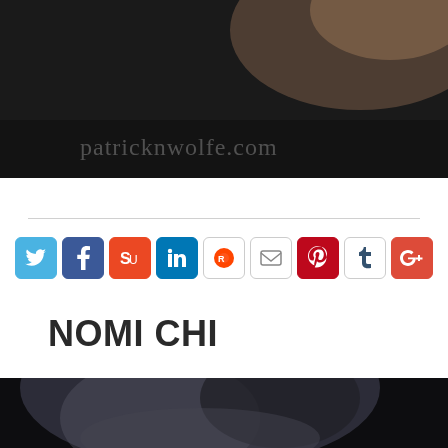[Figure (photo): Dark background photo with a smiling person partially visible at top right, with a URL text overlay reading 'patricknwolfe.com']
[Figure (infographic): Row of 9 social media sharing icon buttons: Twitter, Facebook, StumbleUpon, LinkedIn, Reddit, Email, Pinterest, Tumblr, Google+]
NOMI CHI
[Figure (photo): Dark blurred photo of a person's face/head against dark background]